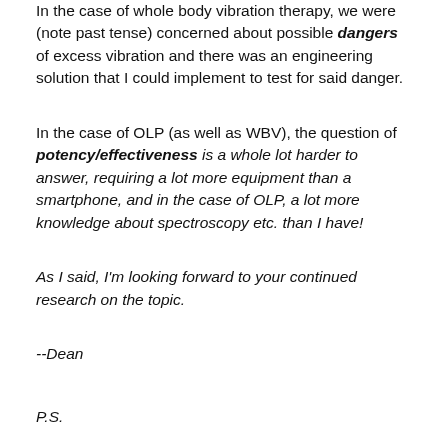In the case of whole body vibration therapy, we were (note past tense) concerned about possible dangers of excess vibration and there was an engineering solution that I could implement to test for said danger.
In the case of OLP (as well as WBV), the question of potency/effectiveness is a whole lot harder to answer, requiring a lot more equipment than a smartphone, and in the case of OLP, a lot more knowledge about spectroscopy etc. than I have!
As I said, I'm looking forward to your continued research on the topic.
--Dean
P.S.